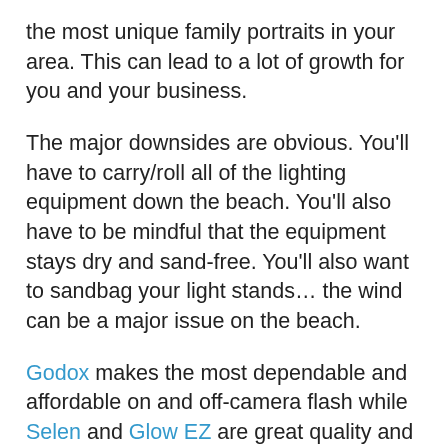the most unique family portraits in your area. This can lead to a lot of growth for you and your business.
The major downsides are obvious. You'll have to carry/roll all of the lighting equipment down the beach. You'll also have to be mindful that the equipment stays dry and sand-free. You'll also want to sandbag your light stands… the wind can be a major issue on the beach.
Godox makes the most dependable and affordable on and off-camera flash while Selen and Glow EZ are great quality and very affordable soft boxes. Neewer makes very dependable light stands for the investment